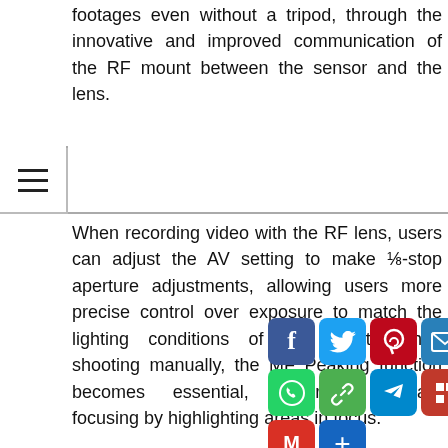footages even without a tripod, through the innovative and improved communication of the RF mount between the sensor and the lens.
When recording video with the RF lens, users can adjust the AV setting to make ⅛-stop aperture adjustments, allowing users more precise control over exposure to match the lighting conditions of the shoot. When shooting manually, the MF Peaking function becomes essential, ensuring accurate focusing by highlighting areas in focus.
Enhanced Ergonomics for Ease of Handling
Weighing only 485g and significantly smaller, the EOS RP is easier to handle, perfect for users who are new to full-frame cameras. For users with larger hands, an optional Extension Grip (EG-E1) comes in
[Figure (infographic): Social media share buttons overlay: Row 1: Facebook (blue), Twitter (light blue), Pinterest (dark red), Email (blue), LinkedIn (dark blue). Row 2: WhatsApp (green), Copy link (green), Telegram (blue), Flipboard (red), WeChat (green). Row 3: Gmail (red), Add (dark blue).]